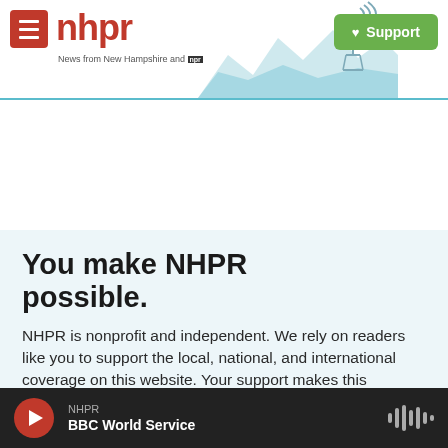nhpr — News from New Hampshire and NPR | Support
[Figure (illustration): NHPR website screenshot header with logo, hamburger menu, scenic New Hampshire landscape silhouette with radio tower, and green Support button]
You make NHPR possible.
NHPR is nonprofit and independent. We rely on readers like you to support the local, national, and international coverage on this website. Your support makes this
NHPR — BBC World Service (audio player bar)